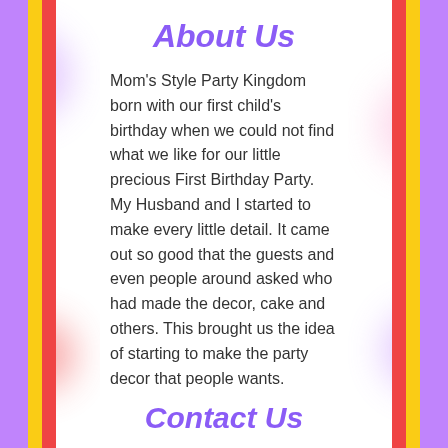About Us
Mom's Style Party Kingdom born with our first child's birthday when we could not find what we like for our little precious First Birthday Party. My Husband and I started to make every little detail. It came out so good that the guests and even people around asked who had made the decor, cake and others. This brought us the idea of starting to make the party decor that people wants.
Contact Us